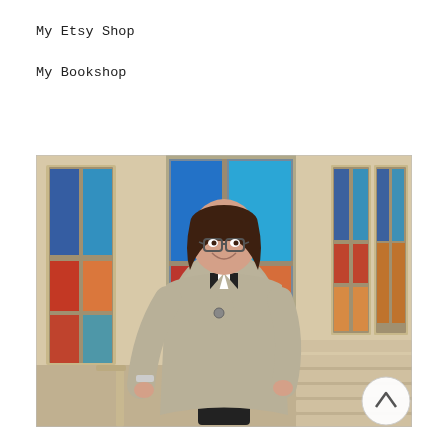My Etsy Shop
My Bookshop
[Figure (photo): A smiling woman with short brown hair and glasses, wearing a black turtleneck with a white clerical collar and a light grey/beige tweed jacket, standing in a church interior with colorful stained glass windows and wooden pews visible in the background.]